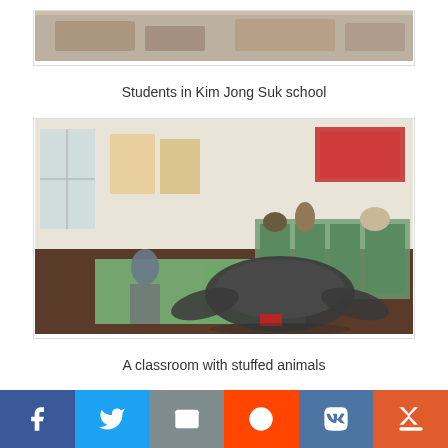[Figure (photo): Students in a classroom at Kim Jong Suk school, partially visible at top]
Students in Kim Jong Suk school
[Figure (photo): A classroom interior with stuffed/taxidermied animals including a large leatherback sea turtle on display mats on the floor]
A classroom with stuffed animals
[Figure (photo): A museum or exhibition room with Korean text banners and display boards along the walls, partially visible]
Social sharing bar: Facebook, Twitter, Email, Reddit, VK, Mix